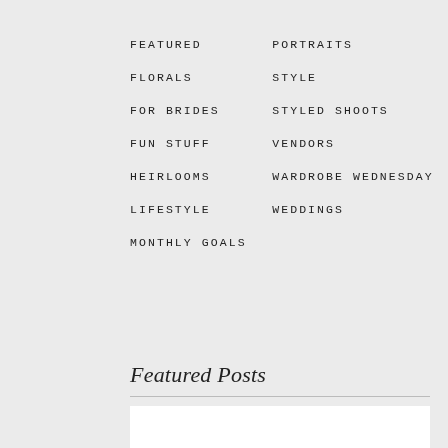FEATURED
PORTRAITS
FLORALS
STYLE
FOR BRIDES
STYLED SHOOTS
FUN STUFF
VENDORS
HEIRLOOMS
WARDROBE WEDNESDAY
LIFESTYLE
WEDDINGS
MONTHLY GOALS
Featured Posts
01
Boho Green &